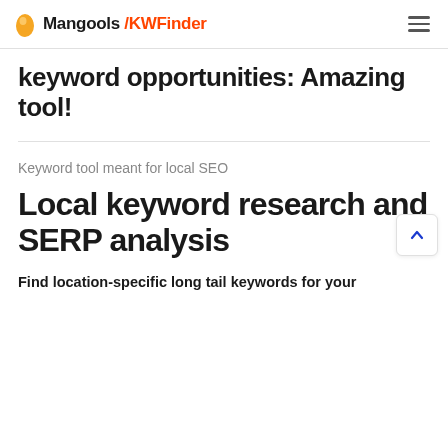Mangools / KWFinder
keyword opportunities: Amazing tool!
Keyword tool meant for local SEO
Local keyword research and SERP analysis
Find location-specific long tail keywords for your